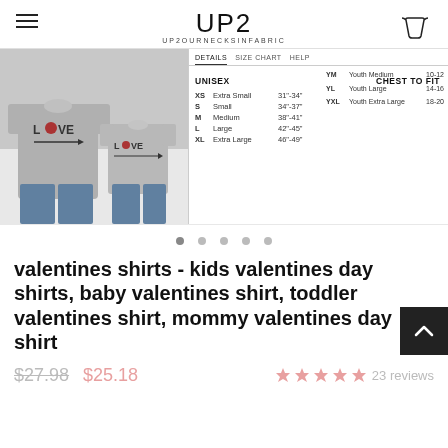UP2 UP2OURNECKSINFABRIC
[Figure (photo): Two gray t-shirts with LOVE design featuring a heart and arrow, displayed flat on a white wooden surface. One adult size and one child size.]
|  | UNISEX | CHEST TO FIT |
| --- | --- | --- |
| XS | Extra Small | 31"-34" |
| S | Small | 34"-37" |
| M | Medium | 38"-41" |
| L | Large | 42"-45" |
| XL | Extra Large | 46"-49" |
|  |  | SIZE |
| --- | --- | --- |
| YM | Youth Medium | 10-12 |
| YL | Youth Large | 14-16 |
| YXL | Youth Extra Large | 18-20 |
valentines shirts - kids valentines day shirts, baby valentines shirt, toddler valentines shirt, mommy valentines day shirt
$27.98  $25.18  23 reviews